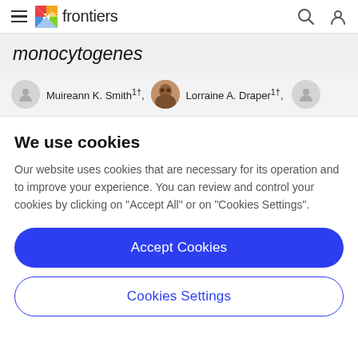frontiers
monocytogenes
Muireann K. Smith1†, Lorraine A. Draper1†,
We use cookies
Our website uses cookies that are necessary for its operation and to improve your experience. You can review and control your cookies by clicking on "Accept All" or on "Cookies Settings".
Accept Cookies
Cookies Settings